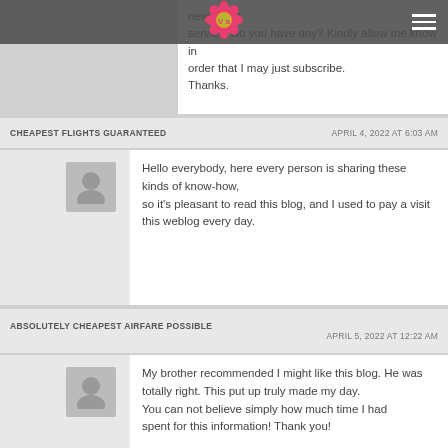newsletter service. Do you have any? Kindly allow me know in order that I may just subscribe. Thanks.
CHEAPEST FLIGHTS GUARANTEED    APRIL 4, 2022 AT 6:03 AM
Hello everybody, here every person is sharing these kinds of know-how, so it's pleasant to read this blog, and I used to pay a visit this weblog every day.
ABSOLUTELY CHEAPEST AIRFARE POSSIBLE    APRIL 5, 2022 AT 12:22 AM
My brother recommended I might like this blog. He was totally right. This put up truly made my day. You can not believe simply how much time I had spent for this information! Thank you!